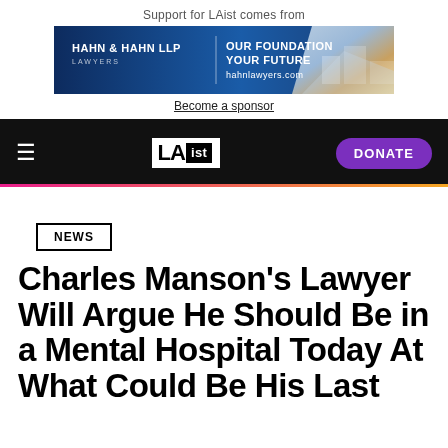Support for LAist comes from
[Figure (illustration): Hahn & Hahn LLP Lawyers advertisement banner with blue gradient background, text: HAHN & HAHN LLP LAWYERS | OUR FOUNDATION YOUR FUTURE hahnlawyers.com, with a mountain/building photo on right side]
Become a sponsor
[Figure (logo): LAist website navigation bar with black background, hamburger menu icon on left, LAist logo in center (white box with LA in black and 'ist' in white on black box), and purple DONATE button on right]
NEWS
Charles Manson's Lawyer Will Argue He Should Be in a Mental Hospital Today At What Could Be His Last Parole Hearing Ever